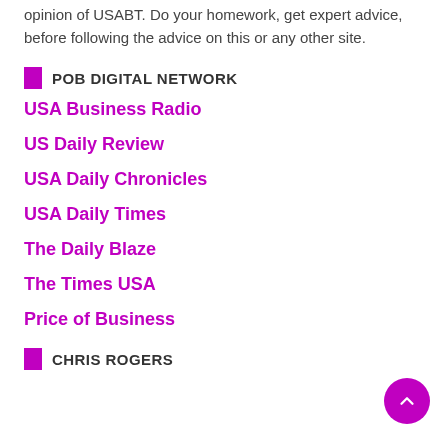opinion of USABT. Do your homework, get expert advice, before following the advice on this or any other site.
POB DIGITAL NETWORK
USA Business Radio
US Daily Review
USA Daily Chronicles
USA Daily Times
The Daily Blaze
The Times USA
Price of Business
CHRIS ROGERS